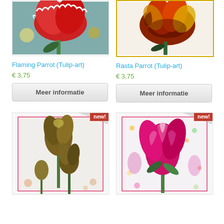[Figure (photo): Flaming Parrot tulip art photo - red and white ruffled tulip close-up]
[Figure (photo): Rasta Parrot tulip art photo - red, yellow and dark ruffled tulip close-up]
Flaming Parrot (Tulip-art)
€ 3,75
Meer informatie
Rasta Parrot (Tulip-art)
€ 3,75
Meer informatie
[Figure (photo): New product - dark golden tulips photographed from below against light background, new! badge]
[Figure (photo): New product - pink/magenta large tulip among colorful background, new! badge]